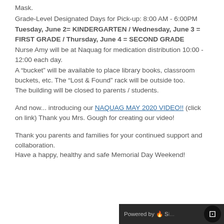Mask.
Grade-Level Designated Days for Pick-up: 8:00 AM - 6:00PM
Tuesday, June 2= KINDERGARTEN / Wednesday, June 3 = FIRST GRADE / Thursday, June 4 = SECOND GRADE
Nurse Amy will be at Naquag for medication distribution 10:00 - 12:00 each day.
A "bucket" will be available to place library books, classroom buckets, etc. The "Lost & Found" rack will be outside too.
The building will be closed to parents / students.
And now... introducing our NAQUAG MAY 2020 VIDEO!! (click on link) Thank you Mrs. Gough for creating our video!
Thank you parents and families for your continued support and collaboration.
Have a happy, healthy and safe Memorial Day Weekend!